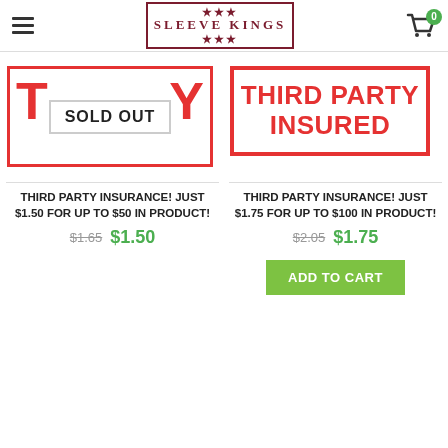Sleeve Kings - Navigation header with logo and cart
[Figure (other): SOLD OUT badge overlay on product image — red bordered box with letters T and Y visible, white center box reading SOLD OUT]
[Figure (other): THIRD PARTY INSURED badge — red bordered box with red bold text]
THIRD PARTY INSURANCE! JUST $1.50 FOR UP TO $50 IN PRODUCT!
$1.65  $1.50
THIRD PARTY INSURANCE! JUST $1.75 FOR UP TO $100 IN PRODUCT!
$2.05  $1.75
ADD TO CART